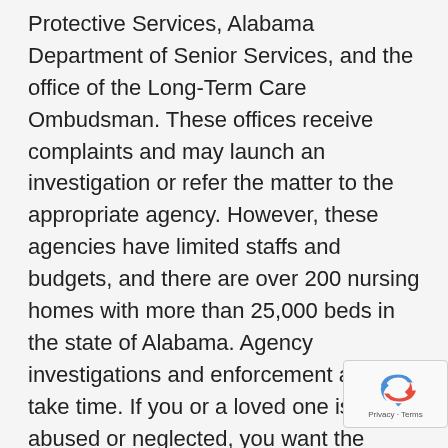Protective Services, Alabama Department of Senior Services, and the office of the Long-Term Care Ombudsman. These offices receive complaints and may launch an investigation or refer the matter to the appropriate agency. However, these agencies have limited staffs and budgets, and there are over 200 nursing homes with more than 25,000 beds in the state of Alabama. Agency investigations and enforcement actions take time. If you or a loved one is being abused or neglected, you want the neglect or abuse to end now.
An attorney is able to act much more swiftly than a government agency in many instances, such as going to court for a protective injunction or directly confronting nursing home staff and supervisors with